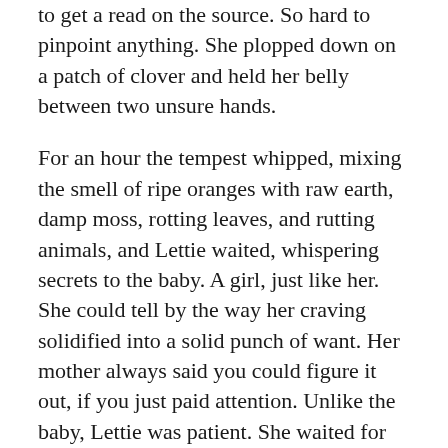to get a read on the source. So hard to pinpoint anything. She plopped down on a patch of clover and held her belly between two unsure hands.
For an hour the tempest whipped, mixing the smell of ripe oranges with raw earth, damp moss, rotting leaves, and rutting animals, and Lettie waited, whispering secrets to the baby. A girl, just like her. She could tell by the way her craving solidified into a solid punch of want. Her mother always said you could figure it out, if you just paid attention. Unlike the baby, Lettie was patient. She waited for the calm air to descend and the scents to settle. Meanwhile, her belly heaved and cried.
“This way,” the wind whispered. “Come this way.”
Well, that was different. Never had encouragement